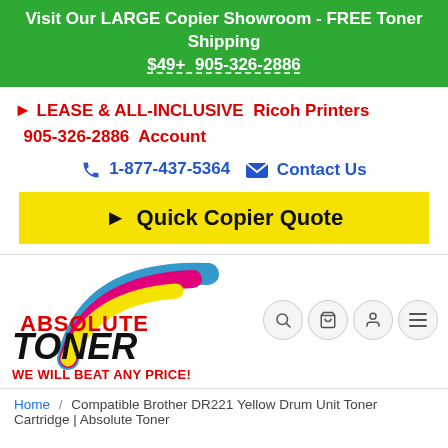Visit Our LARGE Copier Showroom - FREE Toner Shipping $49+ 905-326-2886
► LEASE & ALL-INCLUSIVE  Ricoh Printers 905-326-2886  Account
☎ 1-877-437-5364  ✉ Contact Us
► Quick Copier Quote
[Figure (logo): Absolute Toner logo with colorful arc (blue, pink/magenta, yellow) above the text ABSOLUTE TONER in red and black, with tagline WE WILL BEAT ANY PRICE! in red]
Home / Compatible Brother DR221 Yellow Drum Unit Toner Cartridge | Absolute Toner